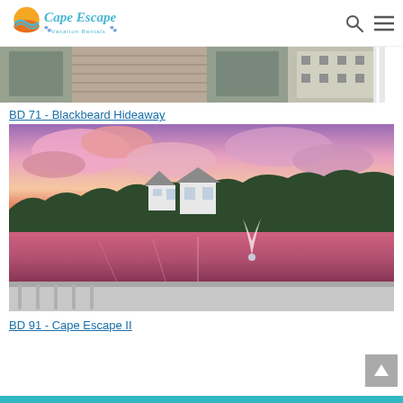Cape Escape Vacation Rentals
[Figure (photo): Partial view of a patio/deck area with wicker furniture, wood decking, and a geometric patterned rug]
BD 71 - Blackbeard Hideaway
[Figure (photo): Sunset view from a deck overlooking a pond with a fountain, white vacation homes visible in background against a pink and purple sky]
BD 91 - Cape Escape II